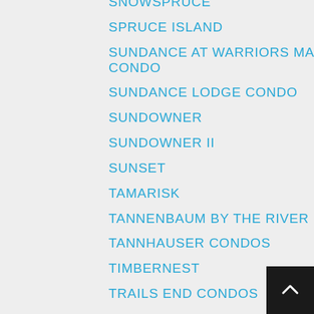SNOWSPRUCE
SPRUCE ISLAND
SUNDANCE AT WARRIORS MARK CONDO
SUNDANCE LODGE CONDO
SUNDOWNER
SUNDOWNER II
SUNSET
TAMARISK
TANNENBAUM BY THE RIVER
TANNHAUSER CONDOS
TIMBERNEST
TRAILS END CONDOS
TRAPPEUR VILLAS
TWIN ELK LODGE
TYRA RIVERBEND CONDOS
TYRA SUMMIT